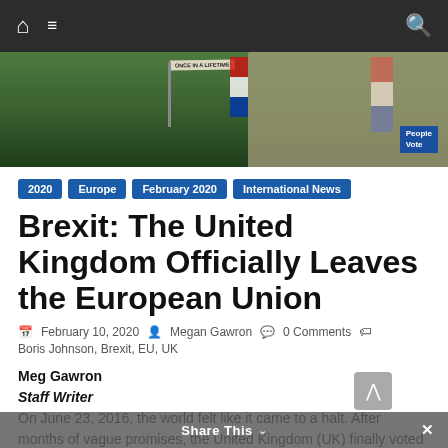Navigation bar with home, menu, and search icons
[Figure (photo): Outdoor protest scene with signs and flags, partially visible building in background. 'People Vote' banner visible in lower right.]
2020  Europe  February 2020  International News
Brexit: The United Kingdom Officially Leaves the European Union
February 10, 2020  Megan Gawron  0 Comments
Boris Johnson, Brexit, EU, UK
Meg Gawron
Staff Writer
On June 23, 2016, the world felt like it came to a halt. After months of vague promises, the United Kingdom (UK) finally voted to leave the European